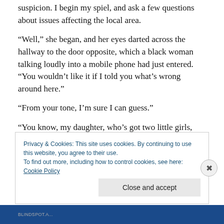suspicion. I begin my spiel, and ask a few questions about issues affecting the local area.
“Well,” she began, and her eyes darted across the hallway to the door opposite, which a black woman talking loudly into a mobile phone had just entered. “You wouldn’t like it if I told you what’s wrong around here.”
“From your tone, I’m sure I can guess.”
“You know, my daughter, who’s got two little girls, can’t get anything. And Them across the way never do a stroke.
Privacy & Cookies: This site uses cookies. By continuing to use this website, you agree to their use.
To find out more, including how to control cookies, see here: Cookie Policy
Close and accept